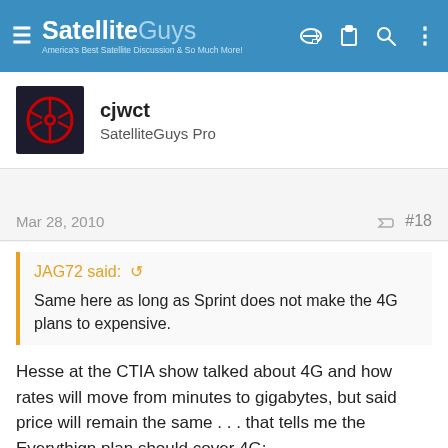SatelliteGuys — America's Best Satellite Discussion & So Much More!
cjwct
SatelliteGuys Pro
Mar 28, 2010  #18
JAG72 said: ↺
Same here as long as Sprint does not make the 4G plans to expensive.
Hesse at the CTIA show talked about 4G and how rates will move from minutes to gigabytes, but said price will remain the same . . . that tells me the Everythign plan should cover 4G:
http://blogs.pcmag.com/miller/2010/03/sprint_4g